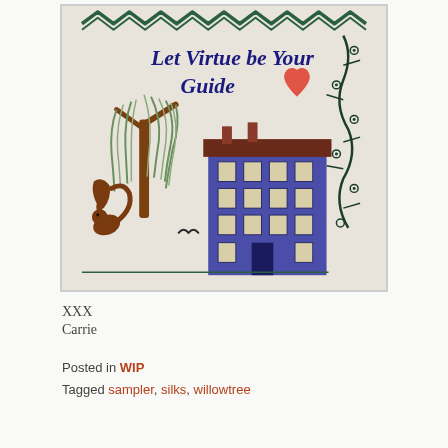[Figure (photo): A cross-stitch sampler on white/cream fabric featuring the text 'Let Virtue be Your Guide' in dark blue, a large willow tree in green and brown, a blue multi-story house with white windows and a dark red roof with chimneys, a red heart, a decorative dark green vine/branch border on the right, a brown squirrel at the lower left, a small bird in flight, and a zigzag green border along the top.]
XXX
Carrie
Posted in WIP
Tagged sampler, silks, willowtree